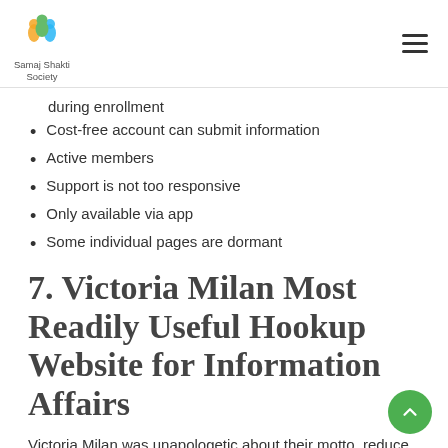Samaj Shakti Society
during enrollment
Cost-free account can submit information
Active members
Support is not too responsive
Only available via app
Some individual pages are dormant
7. Victoria Milan Most Readily Useful Hookup Website for Information Affairs
Victoria Milan was unapologetic about their motto, reduce the enthusiasm come across the